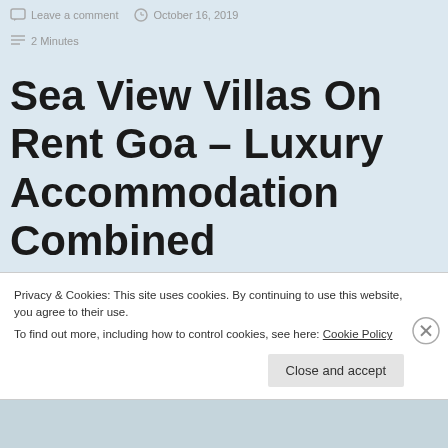Leave a comment   October 16, 2019   2 Minutes
Sea View Villas On Rent Goa – Luxury Accommodation Combined
Privacy & Cookies: This site uses cookies. By continuing to use this website, you agree to their use.
To find out more, including how to control cookies, see here: Cookie Policy